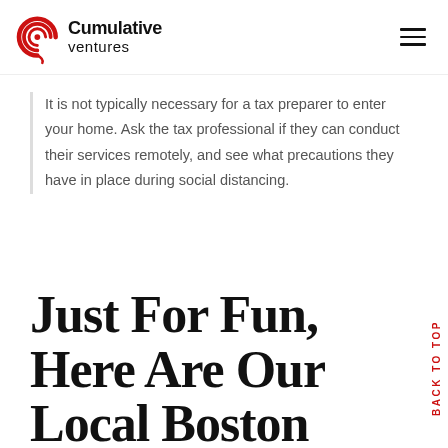[Figure (logo): Cumulative Ventures logo with red concentric C arc and company name]
It is not typically necessary for a tax preparer to enter your home. Ask the tax professional if they can conduct their services remotely, and see what precautions they have in place during social distancing.
Just For Fun, Here Are Our Local Boston
BACK TO TOP